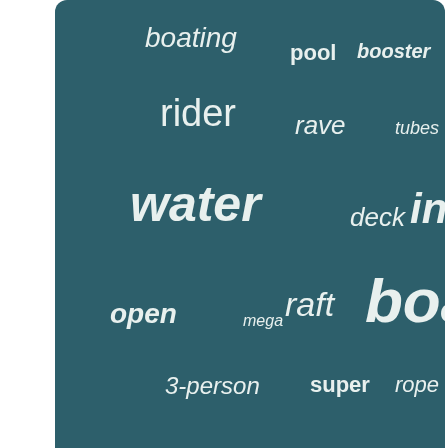[Figure (infographic): Word cloud on dark teal background with water sports related terms in varying sizes: boating, pool, booster, double, lake, rider, rave, tubes, sportsstuff, water, deck, inflatable, open, mega, raft, boat, tube, 3-person, super, rope, sport, coupe, riders, watersports, airhead, banana, ride, sports, towable, person, thriller]
Homepage
Contact Form
Privacy Policy Agreement
Terms of service